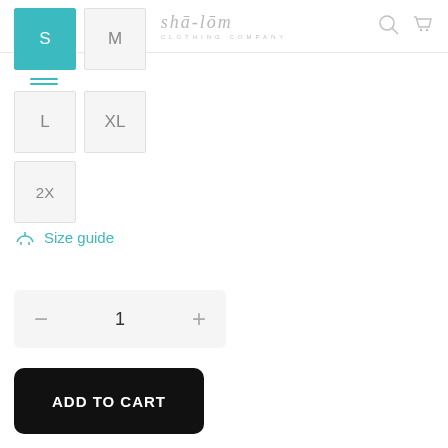shā-lōm CLOTHING COMPANY
[Figure (screenshot): Size selector grid with buttons: S (selected, teal), M, L, XL, 2X]
Size guide
[Figure (other): Quantity selector showing value 1 with minus and plus buttons]
ADD TO CART
I agree with the terms and conditions